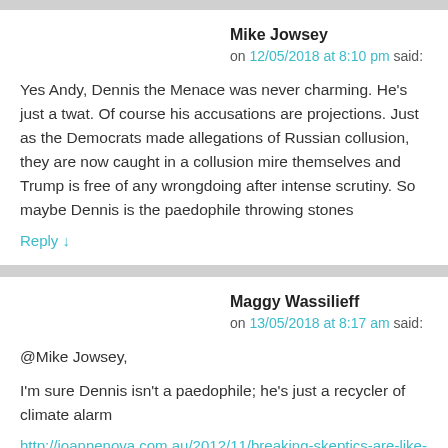Mike Jowsey
on 12/05/2018 at 8:10 pm said:
Yes Andy, Dennis the Menace was never charming. He's just a twat. Of course his accusations are projections. Just as the Democrats made allegations of Russian collusion, they are now caught in a collusion mire themselves and Trump is free of any wrongdoing after intense scrutiny. So maybe Dennis is the paedophile throwing stones…
Reply ↓
Maggy Wassilieff
on 13/05/2018 at 8:17 am said:
@Mike Jowsey,
I'm sure Dennis isn't a paedophile; he's just a recycler of climate alarm…
http://joannenova.com.au/2012/11/breaking-skeptics-are-like-paedop… protest/